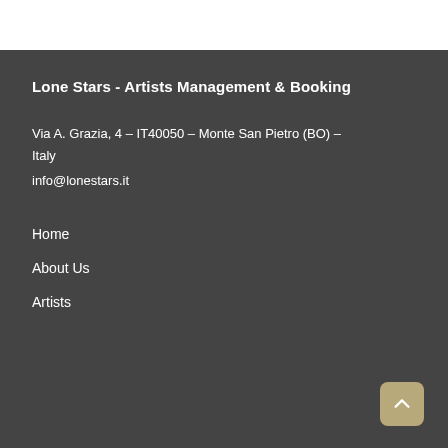Lone Stars - Artists Management & Booking
Via A. Grazia, 4 - IT40050 - Monte San Pietro (BO) - Italy
info@lonestars.it
Home
About Us
Artists